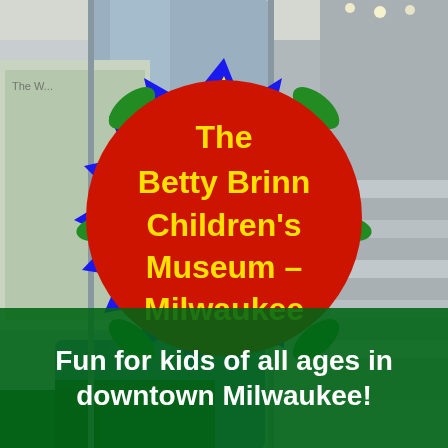[Figure (photo): Interior photo of the Betty Brinn Children's Museum in Milwaukee showing a slide and staircase in the background, with a decorative sunflower-badge graphic overlay displaying the museum name]
The Betty Brinn Children's Museum – Milwaukee
Fun for kids of all ages in downtown Milwaukee!